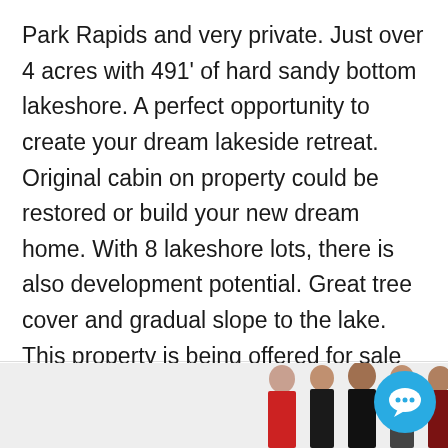Park Rapids and very private. Just over 4 acres with 491' of hard sandy bottom lakeshore. A perfect opportunity to create your dream lakeside retreat. Original cabin on property could be restored or build your new dream home. With 8 lakeshore lots, there is also development potential. Great tree cover and gradual slope to the lake. This property is being offered for sale for the first time in 87 years. Purchase a great piece of local history and get ready for your family's new adventure.
[Figure (photo): Group photo of five real estate team members (two women on left, one man in center, one woman and one man on right) posing together. A blue chat bubble icon appears in the top right corner of the image section.]